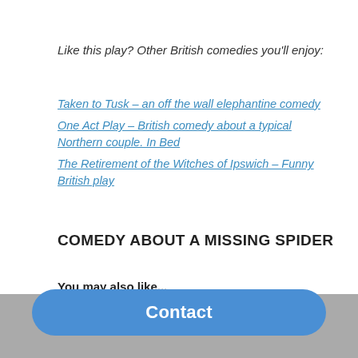Like this play? Other British comedies you'll enjoy:
Taken to Tusk – an off the wall elephantine comedy
One Act Play – British comedy about a typical Northern couple. In Bed
The Retirement of the Witches of Ipswich – Funny British play
COMEDY ABOUT A MISSING SPIDER
You may also like...
[Figure (illustration): Blue dragon or bat wing illustration (cartoon style, teal/blue colors)]
[Figure (photo): Black and white close-up photo of an elderly person's face/head from an unusual angle]
Contact